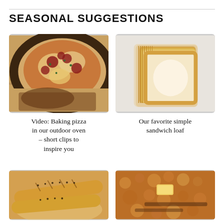SEASONAL SUGGESTIONS
[Figure (photo): Close-up of a freshly baked pizza with charred crust, salami, and herbs, resting on a wooden surface]
Video: Baking pizza in our outdoor oven – short clips to inspire you
[Figure (photo): Stack of sliced white sandwich bread loaf standing upright, viewed from the side]
Our favorite simple sandwich loaf
[Figure (photo): Two baguettes with sesame seeds on a wooden surface]
[Figure (photo): Close-up of a baked good with brown sugar crumble topping and butter]